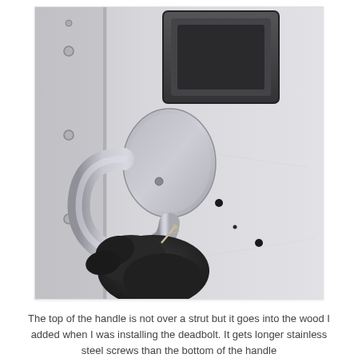[Figure (photo): Close-up photo of a metal door handle (stainless steel, curved pull handle) mounted on a light gray metallic door panel. A gloved hand (dark glove) is visible holding a screw or fastener near the base of the handle. In the upper portion of the image, a dark-framed square/rectangular fixture is visible at the top of the door. Several small black dots (holes) are visible on the door surface.]
The top of the handle is not over a strut but it goes into the wood I added when I was installing the deadbolt. It gets longer stainless steel screws than the bottom of the handle